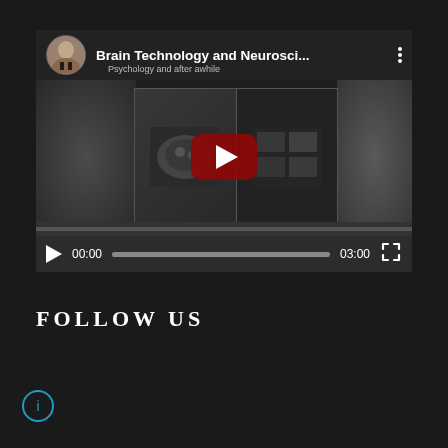[Figure (screenshot): YouTube embedded video player showing 'Brain Technology and Neurosci...' with a profile avatar thumbnail, video preview with brain imagery, red YouTube play button overlay, and video controls bar showing 00:00 / 03:00]
Brain Technology and Neurosci...
Psychology and after awhile
00:00
03:00
FOLLOW US